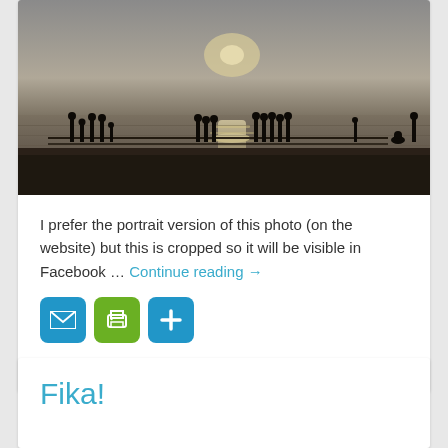[Figure (photo): Beach sunset silhouette photo showing people standing along a shoreline with a bright reflection on calm water]
I prefer the portrait version of this photo (on the website) but this is cropped so it will be visible in Facebook … Continue reading →
[Figure (infographic): Three social sharing buttons: email (blue), print (green), and more/plus (blue)]
Posted in Travel
Fika!